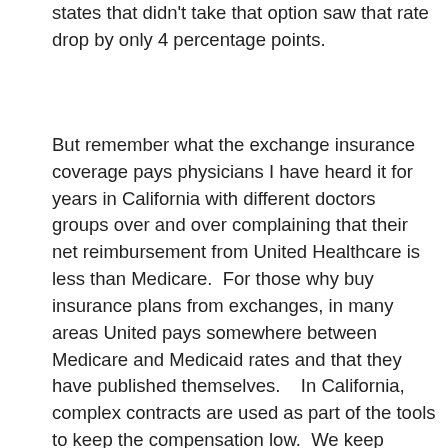states that didn't take that option saw that rate drop by only 4 percentage points.
But remember what the exchange insurance coverage pays physicians I have heard it for years in California with different doctors groups over and over complaining that their net reimbursement from United Healthcare is less than Medicare.  For those why buy insurance plans from exchanges, in many areas United pays somewhere between Medicare and Medicaid rates and that they have published themselves.   In California, complex contracts are used as part of the tools to keep the compensation low.  We keep reading all the time about the expense of doctors and a while back there was a study that came out and it said doctors are not that expensive compared to all the other costs in healthcare.
So if you do find your doctor not in network with United, this could be part of the problem, being paid at rates that are